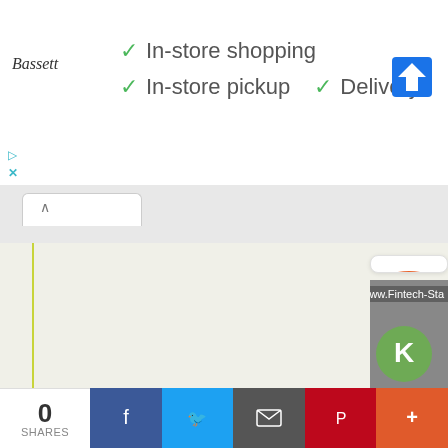[Figure (screenshot): Google ad banner for Bassett furniture with checkmarks for In-store shopping, In-store pickup, and Delivery, plus Google Maps navigation icon]
✓ In-store shopping
✓ In-store pickup  ✓ Delivery
[Figure (screenshot): Browser chrome showing a tab with up-arrow and URL bar]
[Figure (logo): FreeCharge logo card showing orange circle with lightning bolt f icon, URL www.Fintech-Start-Up.com, and freecharge orange italic text]
www.Fintech-Start-Up.com
[Figure (screenshot): Bottom thumbnail card showing partial green logo on grey background with www.Fintech-Sta text]
0
SHARES